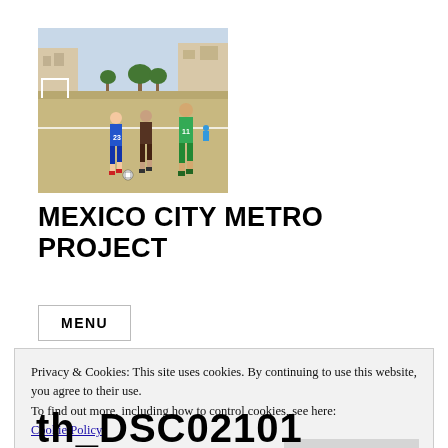[Figure (photo): Outdoor soccer match with players in blue and green jerseys running on a dirt/grass field. Urban buildings and trees visible in background.]
MEXICO CITY METRO PROJECT
MENU
Privacy & Cookies: This site uses cookies. By continuing to use this website, you agree to their use.
To find out more, including how to control cookies, see here:
Cookie Policy
Close and accept
th_DSC02101